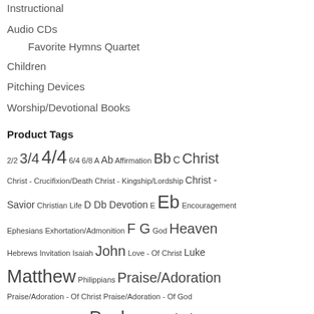Instructional
Audio CDs
Favorite Hymns Quartet
Children
Pitching Devices
Worship/Devotional Books
Product Tags
2/2 3/4 4/4 6/4 6/8 A Ab Affirmation Bb C Christ Christ - Crucifixion/Death Christ - Kingship/Lordship Christ - Savior Christian Life D Db Devotion E Eb Encouragement Ephesians Exhortation/Admonition F G God Heaven Hebrews Invitation Isaiah John Love - Of Christ Luke Matthew Philippians Praise/Adoration Praise/Adoration - Of Christ Praise/Adoration - Of God Prayer Prayer - Petition Psalm Revelation Romans Testimony Youth - Children Songs